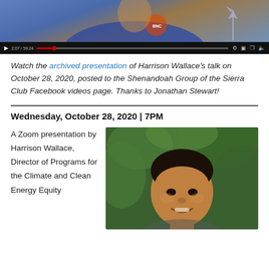[Figure (screenshot): Embedded video player showing a person in a blue shirt with a windmill graphic, with playback controls showing time 2:07/59:24]
Watch the archived presentation of Harrison Wallace's talk on October 28, 2020, posted to the Shenandoah Group of the Sierra Club Facebook videos page. Thanks to Jonathan Stewart!
Wednesday, October 28, 2020 | 7PM
A Zoom presentation by Harrison Wallace, Director of Programs for the Climate and Clean Energy Equity
[Figure (photo): Portrait photo of Harrison Wallace, a young man smiling, with green foliage in the background]